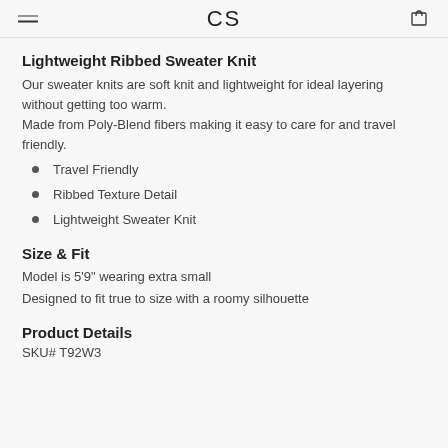CS
Lightweight Ribbed Sweater Knit
Our sweater knits are soft knit and lightweight for ideal layering without getting too warm.
Made from Poly-Blend fibers making it easy to care for and travel friendly.
Travel Friendly
Ribbed Texture Detail
Lightweight Sweater Knit
Size & Fit
Model is 5'9" wearing extra small
Designed to fit true to size with a roomy silhouette
Product Details
SKU# T92W3